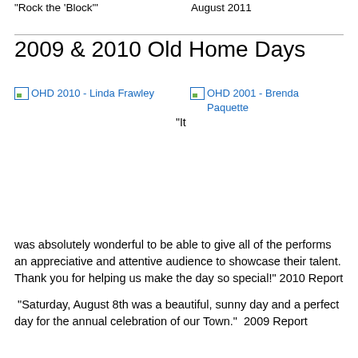"Rock the 'Block'"    August 2011
2009 & 2010 Old Home Days
[Figure (photo): Broken image placeholder: OHD 2010 - Linda Frawley]
[Figure (photo): Broken image placeholder: OHD 2001 - Brenda Paquette]
"It was absolutely wonderful to be able to give all of the performs an appreciative and attentive audience to showcase their talent. Thank you for helping us make the day so special!" 2010 Report
"Saturday, August 8th was a beautiful, sunny day and a perfect day for the annual celebration of our Town."  2009 Report